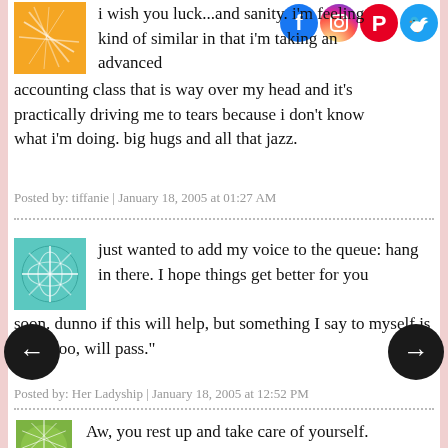i wish you luck...and sanity. i'm feeling kind of similar in that i'm taking an advanced accounting class that is way over my head and it's practically driving me to tears because i don't know what i'm doing. big hugs and all that jazz.
Posted by: tiffanie | January 18, 2005 at 01:27 AM
just wanted to add my voice to the queue: hang in there. I hope things get better for you soon. dunno if this will help, but something I say to myself is "this, too, will pass."
Posted by: Her Ladyship | January 18, 2005 at 12:52 PM
Aw, you rest up and take care of yourself.